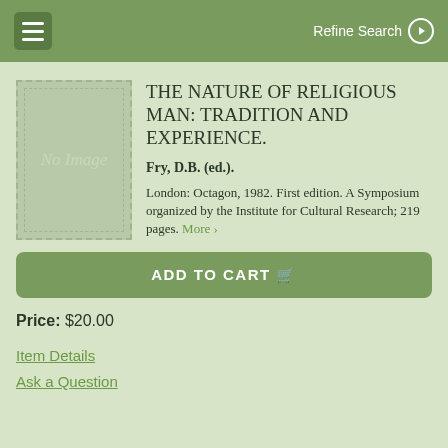Refine Search
[Figure (illustration): Book cover placeholder showing 'No Image' text on a light green background with dashed border]
THE NATURE OF RELIGIOUS MAN: TRADITION AND EXPERIENCE.
Fry, D.B. (ed.).
London: Octagon, 1982. First edition. A Symposium organized by the Institute for Cultural Research; 219 pages. More >
ADD TO CART
Price: $20.00
Item Details
Ask a Question